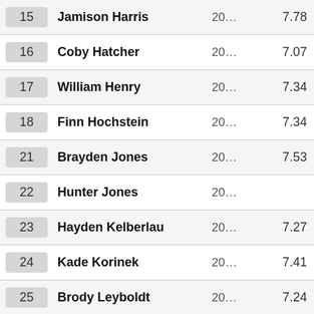| # | Name | Year | Score |
| --- | --- | --- | --- |
| 15 | Jamison Harris | 20... | 7.78 |
| 16 | Coby Hatcher | 20... | 7.07 |
| 17 | William Henry | 20... | 7.34 |
| 18 | Finn Hochstein | 20... | 7.34 |
| 21 | Brayden Jones | 20... | 7.53 |
| 22 | Hunter Jones | 20... |  |
| 23 | Hayden Kelberlau | 20... | 7.27 |
| 24 | Kade Korinek | 20... | 7.41 |
| 25 | Brody Leyboldt | 20... | 7.24 |
| 26 | Haiden Magnussen | 20... | 7.16 |
| 27 | Trey Mandina | 20... |  |
| 28 | Michael Meckna | 20... | 7.14 |
| 29 | Cooper Mlnarik | 20... | 7.53 |
| 30 | JD Moffett | 20... | 7.62 |
| 31 | Dane Moeser | 20... | 7.35 |